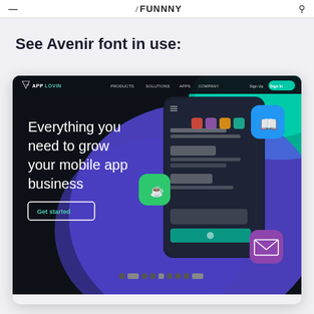≡  ⁄ FUNNNY  🔍
See Avenir font in use:
[Figure (screenshot): Screenshot of AppLovin website homepage showing dark navy background with headline 'Everything you need to grow your mobile app business', a 'Get started' button, navigation bar with PRODUCTS, SOLUTIONS, APPS, COMPANY links, and a stylized mobile phone mockup with app icons on the right side]